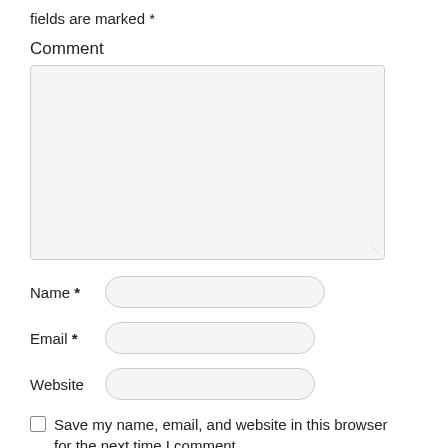fields are marked *
Comment
Name *
Email *
Website
Save my name, email, and website in this browser for the next time I comment.